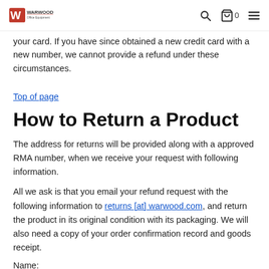Warwood Office Equipment [logo] [search] [cart 0] [menu]
your card. If you have since obtained a new credit card with a new number, we cannot provide a refund under these circumstances.
Top of page
How to Return a Product
The address for returns will be provided along with a approved RMA number, when we receive your request with following information.
All we ask is that you email your refund request with the following information to returns [at] warwood.com, and return the product in its original condition with its packaging. We will also need a copy of your order confirmation record and goods receipt.
Name: